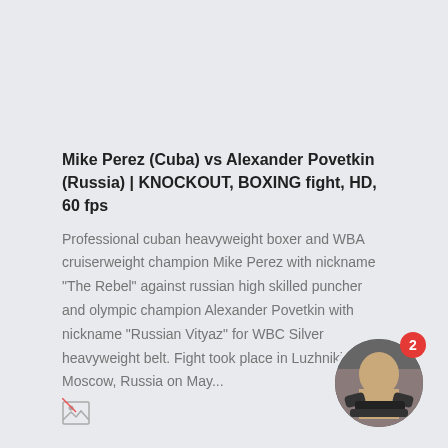Mike Perez (Cuba) vs Alexander Povetkin (Russia) | KNOCKOUT, BOXING fight, HD, 60 fps
Professional cuban heavyweight boxer and WBA cruiserweight champion Mike Perez with nickname "The Rebel" against russian high skilled puncher and olympic champion Alexander Povetkin with nickname "Russian Vityaz" for WBC Silver heavyweight belt. Fight took place in Luzhniki, Moscow, Russia on May...
[Figure (photo): Broken image icon (small, bottom-left area)]
[Figure (photo): Circular thumbnail image of a boxing/knockout scene, with a red badge showing the number 2, positioned at bottom-right]